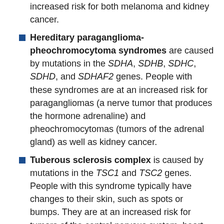increased risk for both melanoma and kidney cancer.
Hereditary paraganglioma-pheochromocytoma syndromes are caused by mutations in the SDHA, SDHB, SDHC, SDHD, and SDHAF2 genes. People with these syndromes are at an increased risk for paragangliomas (a nerve tumor that produces the hormone adrenaline) and pheochromocytomas (tumors of the adrenal gland) as well as kidney cancer.
Tuberous sclerosis complex is caused by mutations in the TSC1 and TSC2 genes. People with this syndrome typically have changes to their skin, such as spots or bumps. They are at an increased risk for tumors of the central nervous system, heart, and lungs, as well as the kidneys.